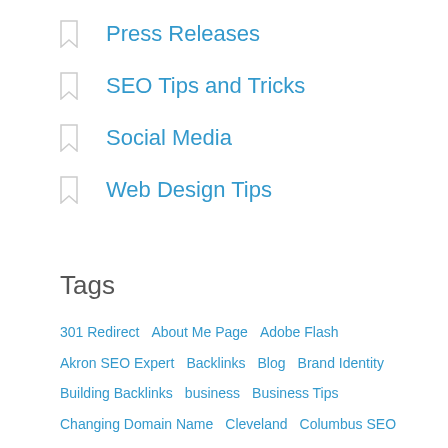Press Releases
SEO Tips and Tricks
Social Media
Web Design Tips
Tags
301 Redirect   About Me Page   Adobe Flash   Akron SEO Expert   Backlinks   Blog   Brand Identity   Building Backlinks   business   Business Tips   Changing Domain Name   Cleveland   Columbus SEO   content   Content Marketing Secrets   Copywriting   CSS3   digital marketing agency   Email Marketing